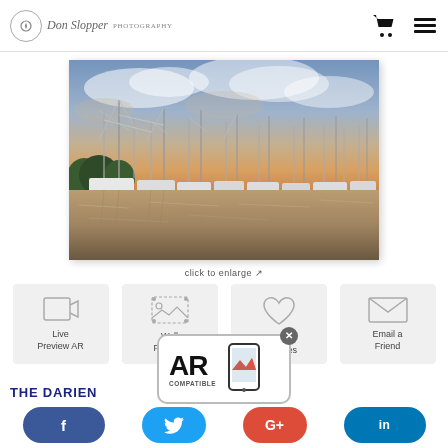Don Shopper Photography — header with cart and menu icons
[Figure (photo): Photograph of shrimp boats docked at a harbor at sunset/dusk, with dramatic cloudy sky and reflections on the water. Multiple fishing vessels with tall masts lined up along the waterfront.]
click to enlarge ↗
Live Preview AR
Wall Preview
Save to Favorites
Email a Friend
[Figure (logo): AR COMPATIBLE badge/popup with phone icon]
Social sharing bar: Facebook, Twitter, Google+, LinkedIn